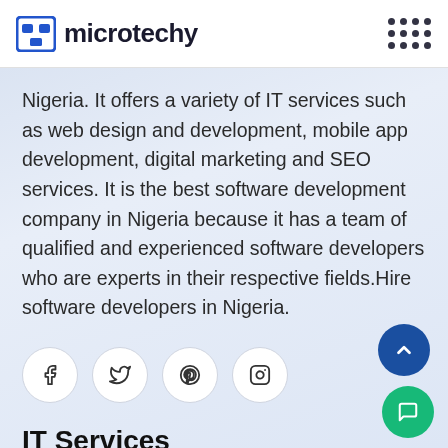microtechy
Nigeria. It offers a variety of IT services such as web design and development, mobile app development, digital marketing and SEO services. It is the best software development company in Nigeria because it has a team of qualified and experienced software developers who are experts in their respective fields.Hire software developers in Nigeria.
[Figure (other): Social media icon buttons: Facebook, Twitter, Pinterest, Instagram]
IT Services
Software Development